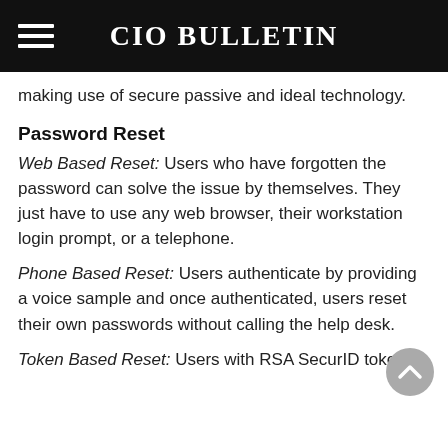CIO BULLETIN
making use of secure passive and ideal technology.
Password Reset
Web Based Reset: Users who have forgotten the password can solve the issue by themselves. They just have to use any web browser, their workstation login prompt, or a telephone.
Phone Based Reset: Users authenticate by providing a voice sample and once authenticated, users reset their own passwords without calling the help desk.
Token Based Reset: Users with RSA SecurID token